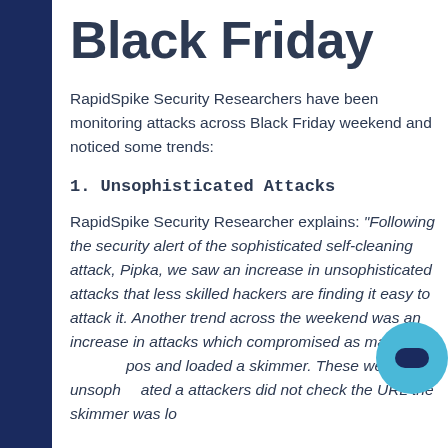Black Friday
RapidSpike Security Researchers have been monitoring attacks across Black Friday weekend and noticed some trends:
1. Unsophisticated Attacks
RapidSpike Security Researcher explains: “Following the security alert of the sophisticated self-cleaning attack, Pipka, we saw an increase in unsophisticated attacks that less skilled hackers are finding it easy to attack it. Another trend across the weekend was an increase in attacks which compromised as many websites as possible and loaded a skimmer. These were unsophisticated as attackers did not check the URL the skimmer was lo…